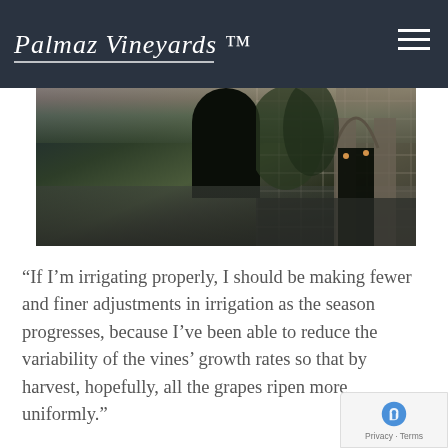[Figure (logo): Palmaz Vineyards cursive logo in white on dark background with hamburger menu icon]
[Figure (photo): Dusk exterior photo of Palmaz Vineyards winery entrance with stone arch, driveway, and landscaping]
“If I’m irrigating properly, I should be making fewer and finer adjustments in irrigation as the season progresses, because I’ve been able to reduce the variability of the vines’ growth rates so that by harvest, hopefully, all the grapes ripen more uniformly.”